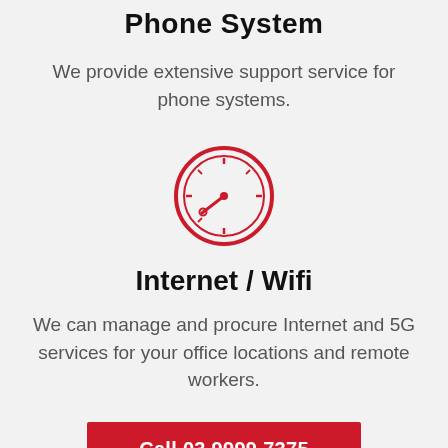Phone System
We provide extensive support service for phone systems.
[Figure (illustration): Red speedometer/clock icon indicating speed or connectivity]
Internet / Wifi
We can manage and procure Internet and 5G services for your office locations and remote workers.
Call 03 9999 7375